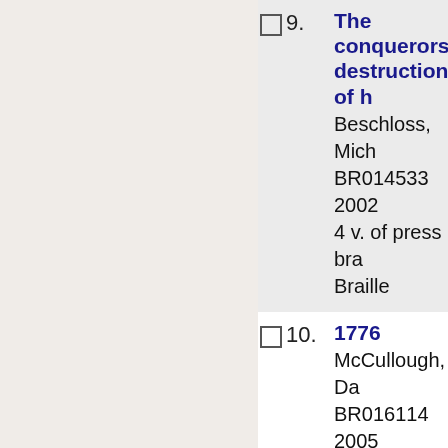9. The conquerors: destruction of h... Beschloss, Mich... BR014533 2002 4 v. of press bra... Braille
10. 1776 McCullough, Da... BR016114 2005 5 v. of press bra... Braille
11. One brief shini... Manchester, Wil... BR005719 1983 2 v. of press bra... Braille